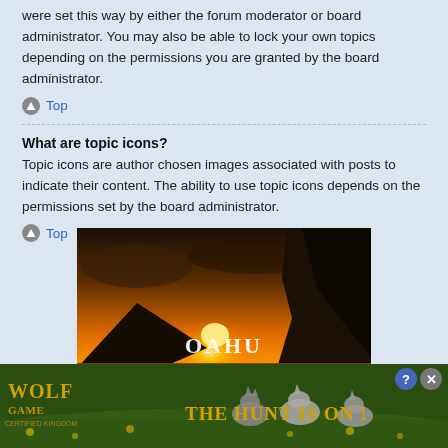were set this way by either the forum moderator or board administrator. You may also be able to lock your own topics depending on the permissions you are granted by the board administrator.
Top
What are topic icons?
Topic icons are author chosen images associated with posts to indicate their content. The ability to use topic icons depends on the permissions set by the board administrator.
Top
[Figure (photo): Sunset landscape photo showing ocean and rocky cliffs with the text 'OAHU' overlaid in white letters]
[Figure (photo): Wolf Game advertisement banner showing wolves with text 'THE HUNT IS ON!' and 'WOLF GAME CERTIFIED KINGDOM' logo]